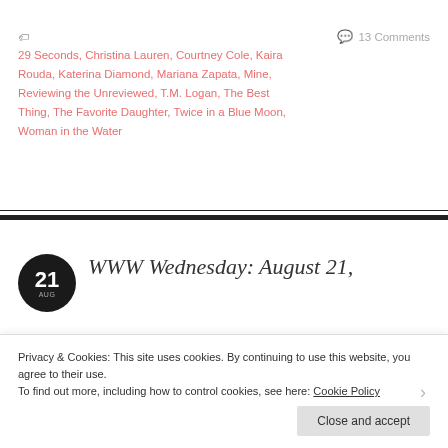🏷 29 Seconds, Christina Lauren, Courtney Cole, Kaira Rouda, Katerina Diamond, Mariana Zapata, Mine, Reviewing the Unreviewed, T.M. Logan, The Best Thing, The Favorite Daughter, Twice in a Blue Moon, Woman in the Water
💬 13 Comments
WWW Wednesday: August 21,
Privacy & Cookies: This site uses cookies. By continuing to use this website, you agree to their use. To find out more, including how to control cookies, see here: Cookie Policy
Close and accept